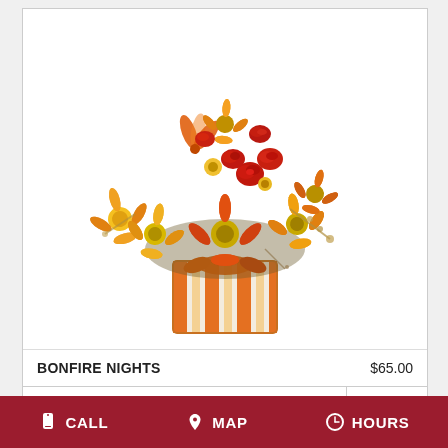[Figure (photo): Flower arrangement called Bonfire Nights: orange, yellow, and red daisies, roses, and daisy-like flowers in a striped orange-and-clear square glass vase with an orange ribbon.]
BONFIRE NIGHTS    $65.00
BUY NOW
[Figure (other): Info button: dark circle with white italic i]
[Figure (other): Partial second card with a slash mark]
CALL   MAP   HOURS